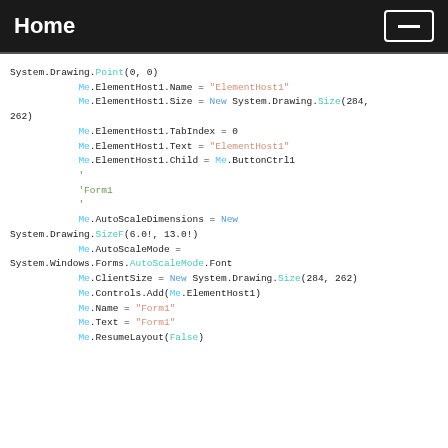Home
System.Drawing.Point(0, 0)
            Me.ElementHost1.Name = "ElementHost1"
            Me.ElementHost1.Size = New System.Drawing.Size(284,
262)
            Me.ElementHost1.TabIndex = 0
            Me.ElementHost1.Text = "ElementHost1"
            Me.ElementHost1.Child = Me.ButtonCtrl1
            '
            'Form1
            '
            Me.AutoScaleDimensions = New
System.Drawing.SizeF(6.0!, 13.0!)
            Me.AutoScaleMode =
System.Windows.Forms.AutoScaleMode.Font
            Me.ClientSize = New System.Drawing.Size(284, 262)
            Me.Controls.Add(Me.ElementHost1)
            Me.Name = "Form1"
            Me.Text = "Form1"
            Me.ResumeLayout(False)